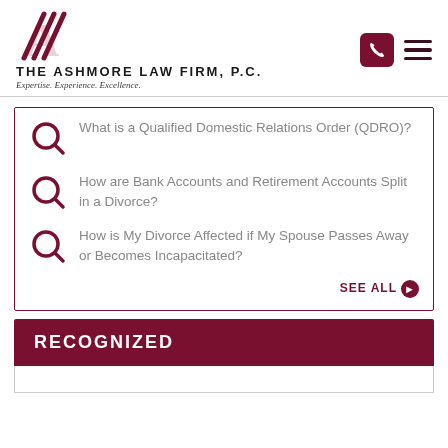The Ashmore Law Firm, P.C. — Expertise. Experience. Excellence.
What is a Qualified Domestic Relations Order (QDRO)?
How are Bank Accounts and Retirement Accounts Split in a Divorce?
How is My Divorce Affected if My Spouse Passes Away or Becomes Incapacitated?
SEE ALL
RECOGNIZED